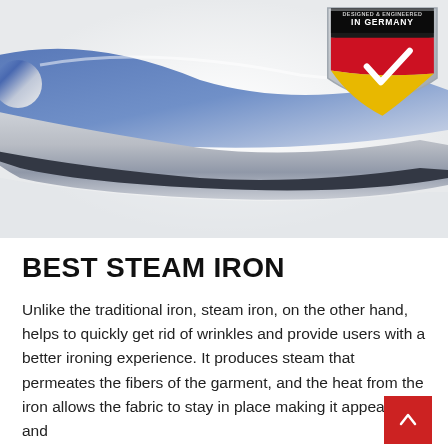[Figure (photo): Close-up of a blue and silver steam iron tip/soleplate against a white background. A shield-shaped badge in the upper right reads 'DESIGNED & ENGINEERED IN GERMANY' with the German flag colors (black, red, gold) and a white checkmark.]
BEST STEAM IRON
Unlike the traditional iron, steam iron, on the other hand, helps to quickly get rid of wrinkles and provide users with a better ironing experience. It produces steam that permeates the fibers of the garment, and the heat from the iron allows the fabric to stay in place making it appear neat and